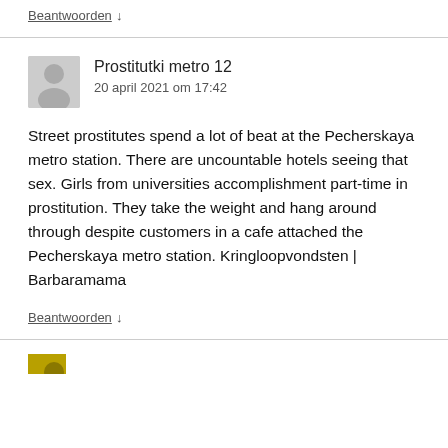Beantwoorden ↓
Prostitutki metro 12
20 april 2021 om 17:42
Street prostitutes spend a lot of beat at the Pecherskaya metro station. There are uncountable hotels seeing that sex. Girls from universities accomplishment part-time in prostitution. They take the weight and hang around through despite customers in a cafe attached the Pecherskaya metro station. Kringloopvondsten | Barbaramama
Beantwoorden ↓